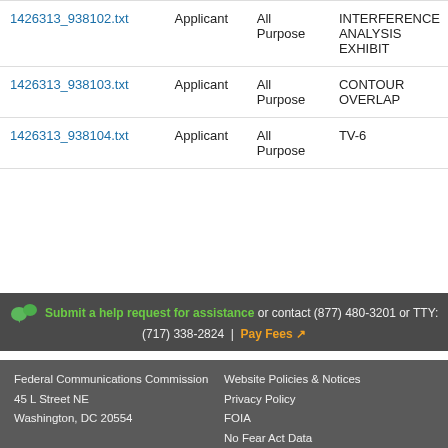|  | Submitter | Purpose | Description |
| --- | --- | --- | --- |
| 1426313_938102.txt | Applicant | All Purpose | INTERFERENCE ANALYSIS EXHIBIT |
| 1426313_938103.txt | Applicant | All Purpose | CONTOUR OVERLAP |
| 1426313_938104.txt | Applicant | All Purpose | TV-6 |
Submit a help request for assistance or contact (877) 480-3201 or TTY: (717) 338-2824  |  Pay Fees
Federal Communications Commission
45 L Street NE
Washington, DC 20554

Phone: 1-888-225-5322

Website Policies & Notices
Privacy Policy
FOIA
No Fear Act Data
FCC Digital Strategy